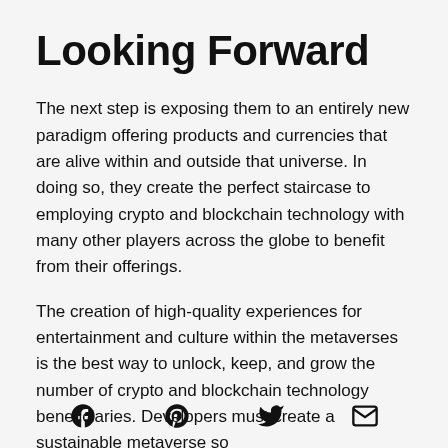Looking Forward
The next step is exposing them to an entirely new paradigm offering products and currencies that are alive within and outside that universe. In doing so, they create the perfect staircase to employing crypto and blockchain technology with many other players across the globe to benefit from their offerings.
The creation of high-quality experiences for entertainment and culture within the metaverses is the best way to unlock, keep, and grow the number of crypto and blockchain technology beneficiaries. Developers must create a sustainable metaverse so
[Figure (other): Social media icons row: Facebook, Pinterest, Twitter, Email]